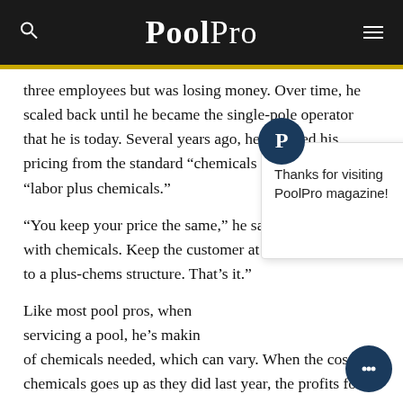PoolPro
three employees but was losing money. Over time, he scaled back until he became the single-pole operator that he is today. Several years ago, he changed his pricing from the standard “chemicals included” plan to “labor plus chemicals.”
“You keep your price the same,” he says. “Say it’s $100 with chemicals. Keep the customer at $100, but change to a plus-chems structure. That’s it.”
Like most pool pros, when servicing a pool, he’s making of chemicals needed, which can vary. When the cost of chemicals goes up as they did last year, the profits for “chems-included” companies go down. He figured that rather than deducting the cost of chemicals — one of his biggest expenses — from his gross income, he could add to that gross